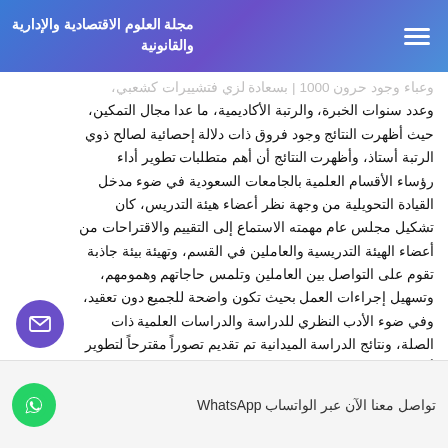مجلة العلوم الاقتصادية والإدارية والقانونية
وعدد سنوات الخبرة، والرتبة الأكاديمية، ما عدا مجال التمكين، حيث أظهرت النتائج وجود فروق ذات دلالة إحصائية لصالح ذوي الرتبة أستاذ، وأظهرت النتائج أن أهم متطلبات تطوير أداء رؤساء الأقسام العلمية بالجامعات السعودية في ضوء مدخل القيادة التحويلية من وجهة نظر أعضاء هيئة التدريس، كان تشكيل مجلس عام مهمته الاستماع إلى التقييم والاقتراحات من أعضاء الهيئة التدريسية والعاملين في القسم، وتهيئة بيئة جاذبة تقوم على التواصل بين العاملين وتلمس حاجاتهم وهمومهم، وتسهيل إجراءات العمل بحيث تكون واضحة للجميع دون تعقيد، وفي ضوء الأدب النظري للدراسة والدراسات العلمية ذات الصلة، ونتائج الدراسة الميدانية تم تقديم تصوراً مقترحاً لتطوير أداء رؤساء الأقسام العلمية في ضوء القيادة التحويلية. وفي ضوء نتائج الدراسة قدمت عدة توصيات منها توفير مناخ ملائم لممارسة عملية الحفز والاستئاره في جامعة الملك فيصل، ودعوة الجامعة إلى... الأقسام العلمية يُ... على قياس أداء كل رئيس قسم ومدى مساهمته في تحقيق...